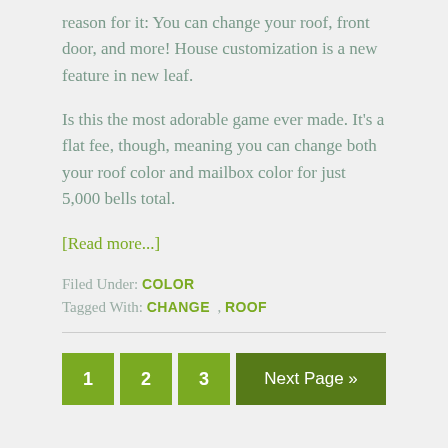reason for it: You can change your roof, front door, and more! House customization is a new feature in new leaf.
Is this the most adorable game ever made. It's a flat fee, though, meaning you can change both your roof color and mailbox color for just 5,000 bells total.
[Read more...]
Filed Under: COLOR
Tagged With: CHANGE , ROOF
1  2  3  Next Page »